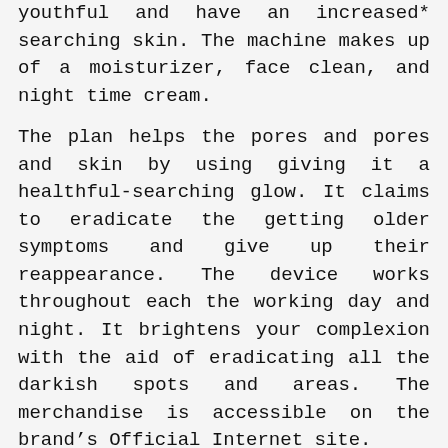youthful and have an increased* searching skin. The machine makes up of a moisturizer, face clean, and night time cream.
The plan helps the pores and pores and skin by using giving it a healthful-searching glow. It claims to eradicate the getting older symptoms and give up their reappearance. The device works throughout each the working day and night. It brightens your complexion with the aid of eradicating all the darkish spots and areas. The merchandise is accessible on the brand’s Official Internet site.
Need To Know More About Zeta White ? Click Here